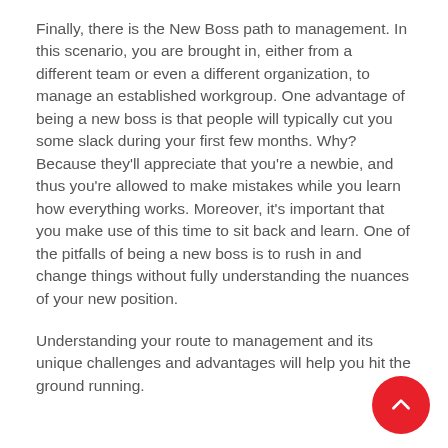Finally, there is the New Boss path to management. In this scenario, you are brought in, either from a different team or even a different organization, to manage an established workgroup. One advantage of being a new boss is that people will typically cut you some slack during your first few months. Why? Because they'll appreciate that you're a newbie, and thus you're allowed to make mistakes while you learn how everything works. Moreover, it's important that you make use of this time to sit back and learn. One of the pitfalls of being a new boss is to rush in and change things without fully understanding the nuances of your new position.
Understanding your route to management and its unique challenges and advantages will help you hit the ground running.